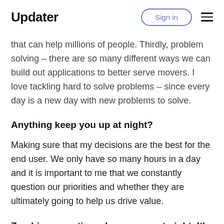Updater | Sign in
that can help millions of people. Thirdly, problem solving – there are so many different ways we can build out applications to better serve movers. I love tackling hard to solve problems – since every day is a new day with new problems to solve.
Anything keep you up at night?
Making sure that my decisions are the best for the end user. We only have so many hours in a day and it is important to me that we constantly question our priorities and whether they are ultimately going to help us drive value.
Zombies sometimes keep us up at night. It's